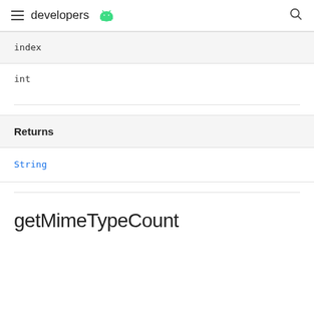developers
| index |
| int |
| Returns |
| --- |
| String |
getMimeTypeCount